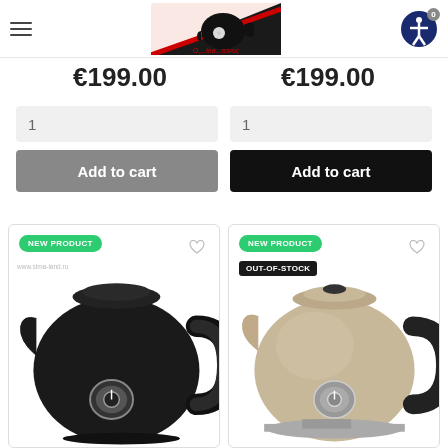Navigation header with hamburger menu, tea shop logo (O,...tea...πίνεις), and accessibility button
€199.00   €199.00
1   1
Add to cart   Add to cart
[Figure (photo): Black electric kettle with thermometer gauge, labeled 'NEW PRODUCT', watermark www.sima-land.ru]
[Figure (photo): Beige/champagne electric kettle with thermometer gauge, labeled 'NEW PRODUCT' and 'OUT-OF-STOCK']